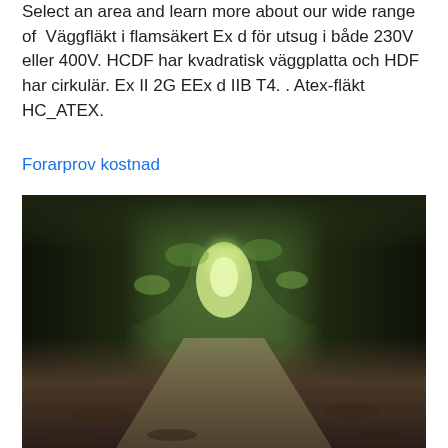Select an area and learn more about our wide range of  Väggfläkt i flamsäkert Ex d för utsug i både 230V eller 400V. HCDF har kvadratisk väggplatta och HDF har cirkulär. Ex II 2G EEx d IIB T4. . Atex-fläkt HC_ATEX.
Forarprov kostnad
[Figure (photo): A nature path through a tunnel of arching trees covered in green ivy/leaves, creating a tunnel-like canopy. The path leads into a bright green glow in the distance. The foreground shows a dirt/leaf-covered ground. The image has a vintage, slightly desaturated quality.]